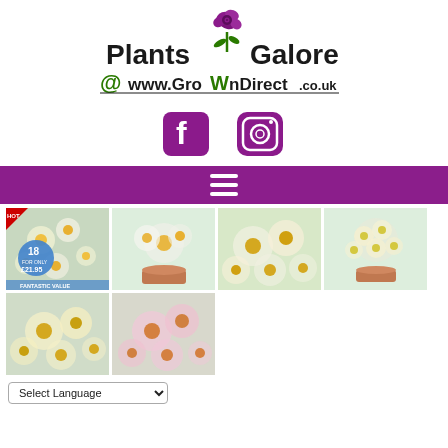[Figure (logo): Plants Galore @ www.GroWnDirect.co.uk logo with purple rose icon]
[Figure (logo): Facebook and Instagram social media icons in purple]
[Figure (screenshot): Purple navigation bar with hamburger menu icon]
[Figure (photo): Grid of 6 daisy/chrysanthemum flower product images, including one with 18 for only £21.95 badge, various colors: white, yellow, pink]
Select Language